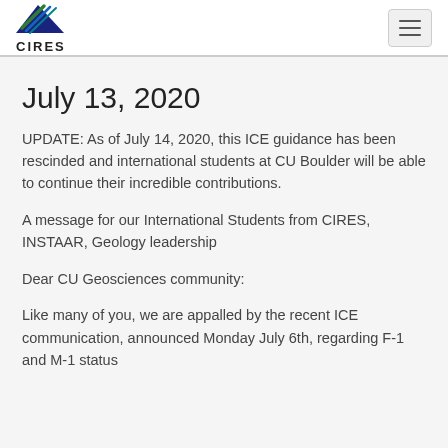CIRES
July 13, 2020
UPDATE: As of July 14, 2020, this ICE guidance has been rescinded and international students at CU Boulder will be able to continue their incredible contributions.
A message for our International Students from CIRES, INSTAAR, Geology leadership
Dear CU Geosciences community:
Like many of you, we are appalled by the recent ICE communication, announced Monday July 6th, regarding F-1 and M-1 status